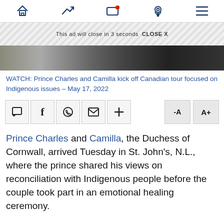[Figure (screenshot): Mobile news app navigation bar with home, trending, video/live, location, and menu icons in dark blue]
[Figure (screenshot): Ad banner with diagonal hatching pattern showing 'This ad will close in 3 seconds  CLOSE X']
[Figure (photo): Partial photo showing two people in formal attire, dark background]
WATCH: Prince Charles and Camilla kick off Canadian tour focused on Indigenous issues – May 17, 2022
[Figure (screenshot): Social sharing toolbar with comment, Facebook, WhatsApp, email, plus, and font size buttons (-A, A+)]
Prince Charles and Camilla, the Duchess of Cornwall, arrived Tuesday in St. John's, N.L., where the prince shared his views on reconciliation with Indigenous people before the couple took part in an emotional healing ceremony.